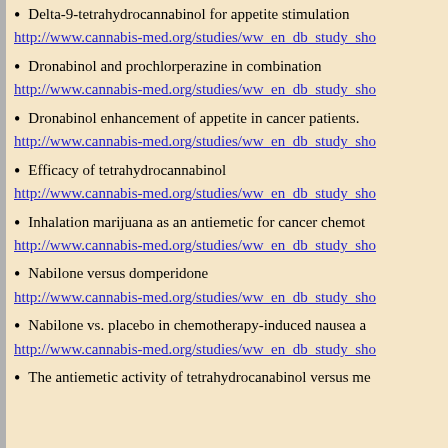Delta-9-tetrahydrocannabinol for appetite stimulation
http://www.cannabis-med.org/studies/ww_en_db_study_sho
Dronabinol and prochlorperazine in combination
http://www.cannabis-med.org/studies/ww_en_db_study_sho
Dronabinol enhancement of appetite in cancer patients.
http://www.cannabis-med.org/studies/ww_en_db_study_sho
Efficacy of tetrahydrocannabinol
http://www.cannabis-med.org/studies/ww_en_db_study_sho
Inhalation marijuana as an antiemetic for cancer chemot
http://www.cannabis-med.org/studies/ww_en_db_study_sho
Nabilone versus domperidone
http://www.cannabis-med.org/studies/ww_en_db_study_sho
Nabilone vs. placebo in chemotherapy-induced nausea a
http://www.cannabis-med.org/studies/ww_en_db_study_sho
The antiemetic activity of tetrahydrocanabinol versus me